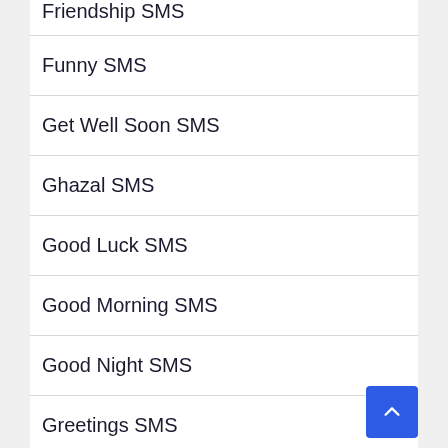Friendship SMS (partial)
Funny SMS
Get Well Soon SMS
Ghazal SMS
Good Luck SMS
Good Morning SMS
Good Night SMS
Greetings SMS
Halloween SMS